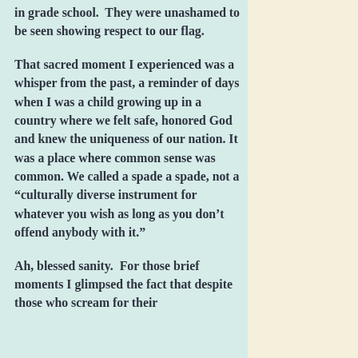in grade school.  They were unashamed to be seen showing respect to our flag.

That sacred moment I experienced was a whisper from the past, a reminder of days when I was a child growing up in a country where we felt safe, honored God and knew the uniqueness of our nation. It was a place where common sense was common. We called a spade a spade, not a “culturally diverse instrument for whatever you wish as long as you don’t offend anybody with it.”

Ah, blessed sanity.  For those brief moments I glimpsed the fact that despite those who scream for their